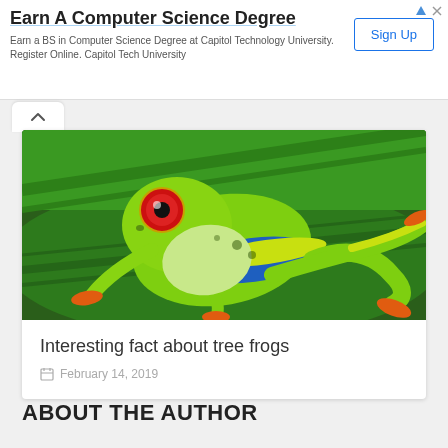Earn A Computer Science Degree
Earn a BS in Computer Science Degree at Capitol Technology University. Register Online. Capitol Tech University
[Figure (photo): Red-eyed tree frog (Agalychnis callidryas) sitting on a large green leaf, showing bright green body, red eyes, blue and yellow striped sides, and orange feet]
Interesting fact about tree frogs
February 14, 2019
ABOUT THE AUTHOR